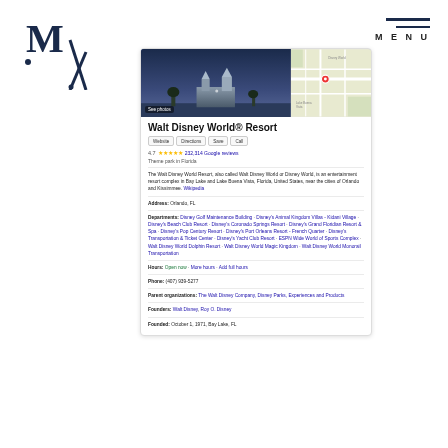[Figure (logo): Stylized dark navy logo with M and vertical bar with dot]
MENU
[Figure (screenshot): Google Knowledge Panel for Walt Disney World Resort showing photo of castle, map, name, rating 4.7 stars 232,314 Google reviews, Theme park in Florida, description, address, departments, hours, phone, parent organizations, founders, founded date]
Walt Disney World® Resort
4.7 ★★★★★ 232,314 Google reviews
Theme park in Florida
The Walt Disney World Resort, also called Walt Disney World or Disney World, is an entertainment resort complex in Bay Lake and Lake Buena Vista, Florida, United States, near the cities of Orlando and Kissimmee. Wikipedia
Address: Orlando, FL
Departments: Disney Golf Maintenance Building · Disney's Animal Kingdom Villas - Kidani Village · Disney's Beach Club Resort · Disney's Coronado Springs Resort · Disney's Grand Floridian Resort & Spa · Disney's Pop Century Resort · Disney's Port Orleans Resort - French Quarter · Disney's Transportation & Ticket Center · Disney's Yacht Club Resort · ESPN Wide World of Sports Complex · Walt Disney World Dolphin Resort · Walt Disney World Magic Kingdom · Walt Disney World Monorail Transportation
Hours: Open now · More hours · Add full hours
Phone: (407) 939-5277
Parent organizations: The Walt Disney Company, Disney Parks, Experiences and Products
Founders: Walt Disney, Roy O. Disney
Founded: October 1, 1971, Bay Lake, FL